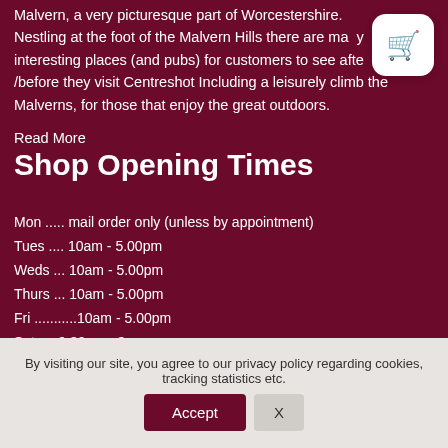Malvern, a very picturesque part of Worcestershire. Nestling at the foot of the Malvern Hills there are many interesting places (and pubs) for customers to see after/before they visit Centreshot Including a leisurely climb the Malverns, for those that enjoy the great outdoors.
Read More
Shop Opening Times
Mon ..... mail order only (unless by appointment)
Tues .... 10am - 5.00pm
Weds ... 10am - 5.00pm
Thurs ... 10am - 5.00pm
Fri ...........10am - 5.00pm
Sat .....9.30am - 3pm
By visiting our site, you agree to our privacy policy regarding cookies, tracking statistics etc.